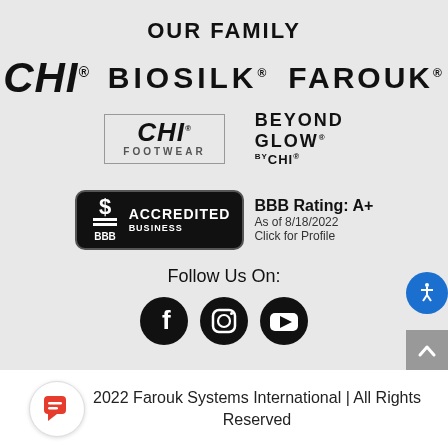OUR FAMILY
[Figure (logo): CHI, BIOSILK, FAROUK brand logos in large bold text]
[Figure (logo): CHI FOOTWEAR logo in bordered box and BEYOND GLOW BY CHI logo]
[Figure (logo): BBB Accredited Business badge with rating A+, As of 8/18/2022, Click for Profile]
Follow Us On:
[Figure (illustration): Social media icons: Facebook, Instagram, YouTube]
2022 Farouk Systems International | All Rights Reserved